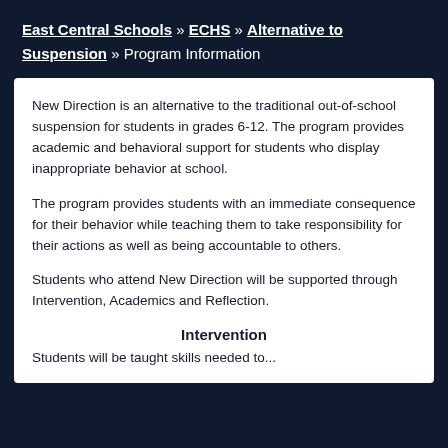East Central Schools » ECHS » Alternative to Suspension » Program Information
New Direction is an alternative to the traditional out-of-school suspension for students in grades 6-12. The program provides academic and behavioral support for students who display inappropriate behavior at school.
The program provides students with an immediate consequence for their behavior while teaching them to take responsibility for their actions as well as being accountable to others.
Students who attend New Direction will be supported through Intervention, Academics and Reflection.
Intervention
Students will be taught skills needed to...